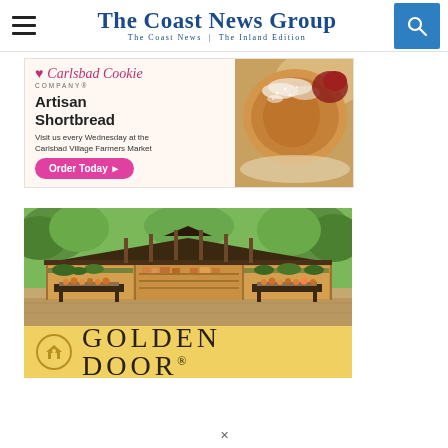The Coast News Group — The Coast News | The Inland Edition
[Figure (photo): Advertisement for Carlsbad Cookie Company — Artisan Shortbread. Shows a pastry/cookie image on the right. Text: 'Carlsbad Cookie Company, Artisan Shortbread, Visit us every Wednesday at the Carlsbad Village Farmers Market, Order Today ▶' with a pink button.]
[Figure (photo): Advertisement for Golden Door. Shows an outdoor farm stand/market stall with yellow wooden panels, display tables with produce/food items, trees in background. Bottom portion shows Golden Door logo text on yellow background with a house icon.]